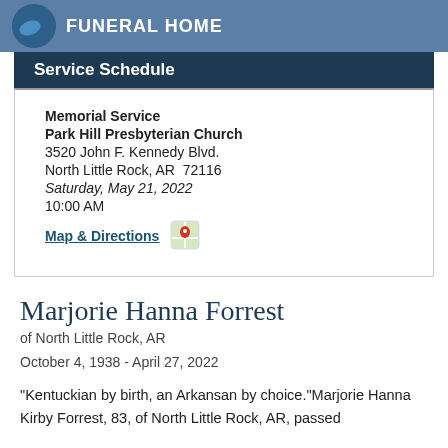FUNERAL HOME
Service Schedule
Memorial Service
Park Hill Presbyterian Church
3520 John F. Kennedy Blvd.
North Little Rock, AR  72116
Saturday, May 21, 2022
10:00 AM
Map & Directions
Marjorie Hanna Forrest
of North Little Rock, AR
October 4, 1938 - April 27, 2022
"Kentuckian by birth, an Arkansan by choice."Marjorie Hanna Kirby Forrest, 83, of North Little Rock, AR, passed